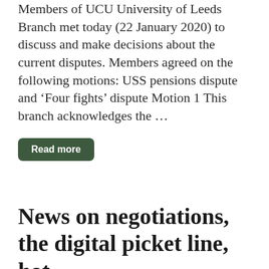Members of UCU University of Leeds Branch met today (22 January 2020) to discuss and make decisions about the current disputes. Members agreed on the following motions: USS pensions dispute and 'Four fights' dispute Motion 1 This branch acknowledges the ...
Read more
News on negotiations, the digital picket line, hot